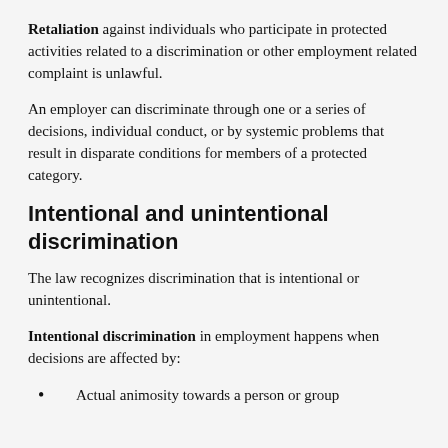Retaliation against individuals who participate in protected activities related to a discrimination or other employment related complaint is unlawful.
An employer can discriminate through one or a series of decisions, individual conduct, or by systemic problems that result in disparate conditions for members of a protected category.
Intentional and unintentional discrimination
The law recognizes discrimination that is intentional or unintentional.
Intentional discrimination in employment happens when decisions are affected by:
Actual animosity towards a person or group